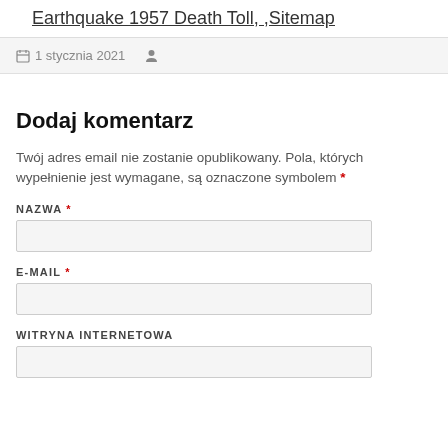Earthquake 1957 Death Toll, ,Sitemap
1 stycznia 2021
Dodaj komentarz
Twój adres email nie zostanie opublikowany. Pola, których wypełnienie jest wymagane, są oznaczone symbolem *
NAZWA *
E-MAIL *
WITRYNA INTERNETOWA